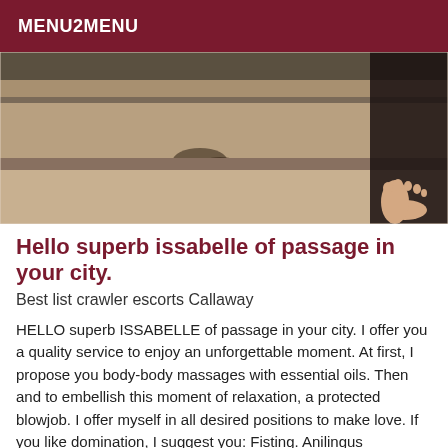MENU2MENU
[Figure (photo): A close-up photo showing stone steps or pavement with a person's bare foot visible on the right side, dark background elements on the right.]
Hello superb issabelle of passage in your city.
Best list crawler escorts Callaway
HELLO superb ISSABELLE of passage in your city. I offer you a quality service to enjoy an unforgettable moment. At first, I propose you body-body massages with essential oils. Then and to embellish this moment of relaxation, a protected blowjob. I offer myself in all desired positions to make love. If you like domination, I suggest you: Fisting. Anilingus (recipient). Masturbation.Role-playing Soft Mistress. Spanking. Penetration table is in...